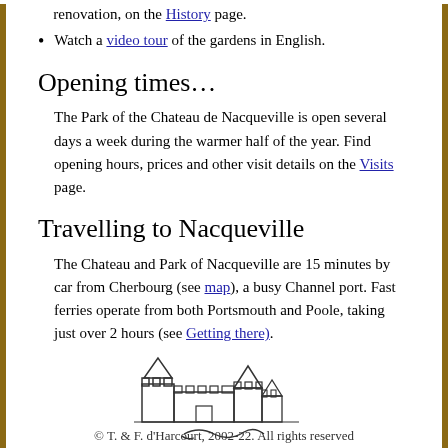renovation, on the History page.
Watch a video tour of the gardens in English.
Opening times…
The Park of the Chateau de Nacqueville is open several days a week during the warmer half of the year. Find opening hours, prices and other visit details on the Visits page.
Travelling to Nacqueville
The Chateau and Park of Nacqueville are 15 minutes by car from Cherbourg (see map), a busy Channel port. Fast ferries operate from both Portsmouth and Poole, taking just over 2 hours (see Getting there).
[Figure (illustration): Line drawing of a chateau/castle with turrets and a signature below]
© T. & F. d'Harcourt, 2002-22. All rights reserved